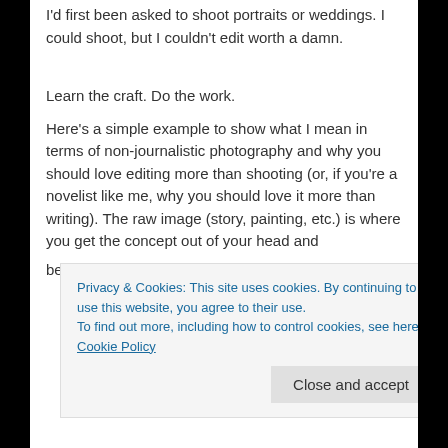I'd first been asked to shoot portraits or weddings. I could shoot, but I couldn't edit worth a damn.
Learn the craft. Do the work.
Here's a simple example to show what I mean in terms of non-journalistic photography and why you should love editing more than shooting (or, if you're a novelist like me, why you should love it more than writing). The raw image (story, painting, etc.) is where you get the concept out of your head and
being The World and becomes Your World, where
Privacy & Cookies: This site uses cookies. By continuing to use this website, you agree to their use.
To find out more, including how to control cookies, see here: Cookie Policy
Close and accept